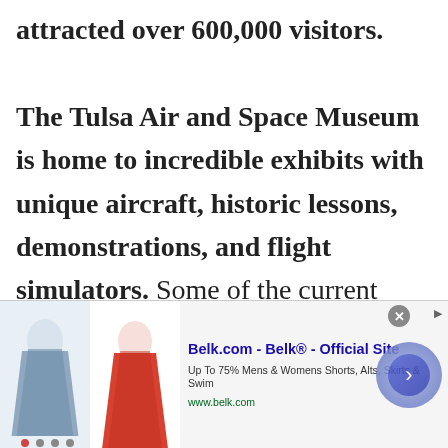attracted over 600,000 visitors. The Tulsa Air and Space Museum is home to incredible exhibits with unique aircraft, historic lessons, demonstrations, and flight simulators. Some of the current exhibits include The Mars Experience, Hometown
[Figure (other): Advertisement banner for Belk.com showing two clothing items (floral skirt and red skirt), ad text 'Belk.com - Belk® - Official Site', 'Up To 75% Mens & Womens Shorts, Alts, Skirts & Swim', 'www.belk.com', with a blue arrow button and close button.]